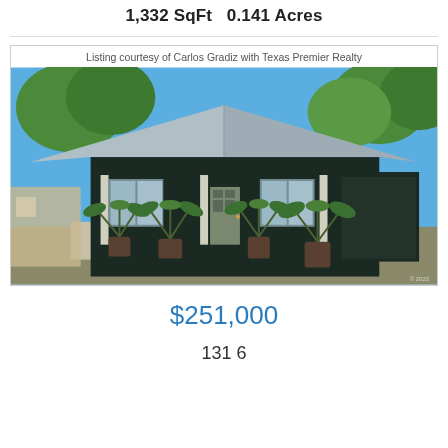1,332 SqFt   0.141 Acres
Listing courtesy of Carlos Gradiz with Texas Premier Realty
[Figure (photo): Exterior photo of a dark-colored single-family home with a metal roof, front porch, and potted palm plants, surrounded by trees under a blue sky.]
$251,000
131 6